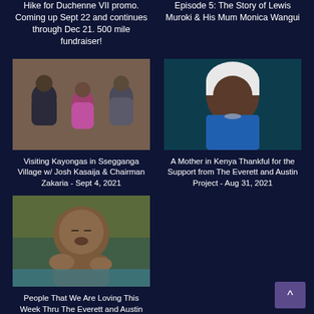Hike for Duchenne VII promo. Coming up Sept 22 and continues through Dec 21. 500 mile fundraiser!
Episode 5: The Story of Lewis Muroki & His Mum Monica Wangui
[Figure (photo): Three people sitting together in front of a brick wall]
Visiting Kayongas in Ssegganga Village w/ Josh Kasaija & Chairman Zakaria - Sept 4, 2021
[Figure (photo): An elderly woman in a white headscarf and blue top]
A Mother in Kenya Thankful for the Support from The Everett and Austin Project - Aug 31, 2021
[Figure (photo): A young child with eyes closed]
People That We Are Loving This Week Thru The Everett and Austin Project - Aug 29,